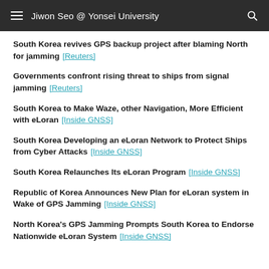Jiwon Seo @ Yonsei University
South Korea revives GPS backup project after blaming North for jamming  [Reuters]
Governments confront rising threat to ships from signal jamming  [Reuters]
South Korea to Make Waze, other Navigation, More Efficient with eLoran  [Inside GNSS]
South Korea Developing an eLoran Network to Protect Ships from Cyber Attacks  [Inside GNSS]
South Korea Relaunches Its eLoran Program  [Inside GNSS]
Republic of Korea Announces New Plan for eLoran system in Wake of GPS Jamming  [Inside GNSS]
North Korea's GPS Jamming Prompts South Korea to Endorse Nationwide eLoran System  [Inside GNSS]